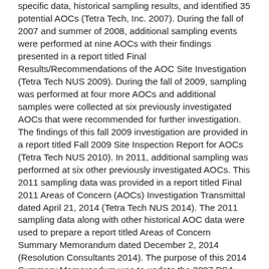specific data, historical sampling results, and identified 35 potential AOCs (Tetra Tech, Inc. 2007). During the fall of 2007 and summer of 2008, additional sampling events were performed at nine AOCs with their findings presented in a report titled Final Results/Recommendations of the AOC Site Investigation (Tetra Tech NUS 2009). During the fall of 2009, sampling was performed at four more AOCs and additional samples were collected at six previously investigated AOCs that were recommended for further investigation. The findings of this fall 2009 investigation are provided in a report titled Fall 2009 Site Inspection Report for AOCs (Tetra Tech NUS 2010). In 2011, additional sampling was performed at six other previously investigated AOCs. This 2011 sampling data was provided in a report titled Final 2011 Areas of Concern (AOCs) Investigation Transmittal dated April 21, 2014 (Tetra Tech NUS 2014). The 2011 sampling data along with other historical AOC data were used to prepare a report titled Areas of Concern Summary Memorandum dated December 2, 2014 (Resolution Consultants 2014). The purpose of this 2014 Summary Memorandum was to update the 2007 PSA recommendations and to provide a path forward for each AOC.